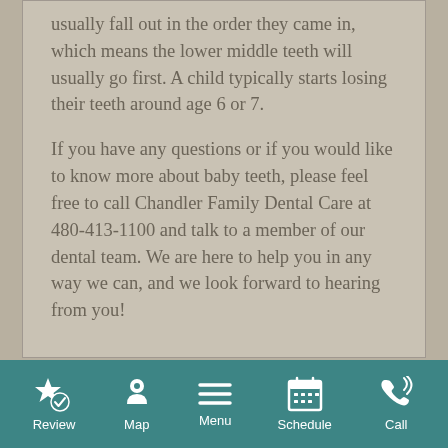usually fall out in the order they came in, which means the lower middle teeth will usually go first. A child typically starts losing their teeth around age 6 or 7.
If you have any questions or if you would like to know more about baby teeth, please feel free to call Chandler Family Dental Care at 480-413-1100 and talk to a member of our dental team. We are here to help you in any way we can, and we look forward to hearing from you!
Review | Map | Menu | Schedule | Call